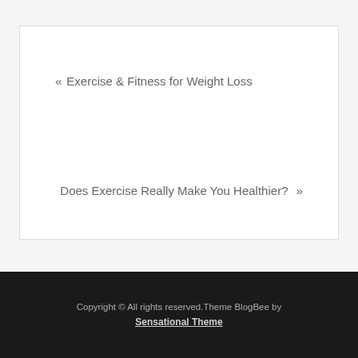« Exercise & Fitness for Weight Loss
Does Exercise Really Make You Healthier? »
Copyright © All rights reserved.Theme BlogBee by Sensational Theme